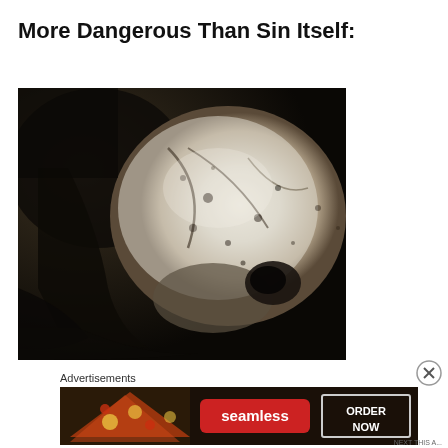More Dangerous Than Sin Itself:
[Figure (photo): Black and white photograph showing what appears to be a human skull with a large cracked dome-like cranium, dark shadowy background, vintage/historical image]
Advertisements
[Figure (screenshot): Advertisement banner for Seamless food delivery service showing pizza slices on the left, a red Seamless logo in the center, and an 'ORDER NOW' button on the right with a dark background]